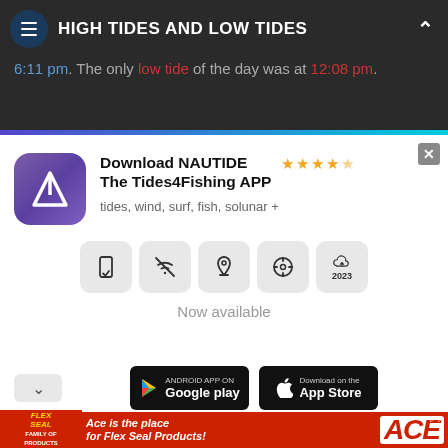HIGH TIDES AND LOW TIDES
6:11 pm. The only low tide of the day was at 12:08 pm.
[Figure (screenshot): NAUTIDE app advertisement card with app icon, star rating (4.5 stars), title 'Download NAUTIDE The Tides4Fishing APP', subtitle 'tides, wind, surf, fish, solunar +', feature icons, 'Now available' text, Google Play and App Store download buttons]
[Figure (screenshot): Flex Seal / ACE Hardware banner advertisement: 'Ace is the place for Flex Seal Products!']